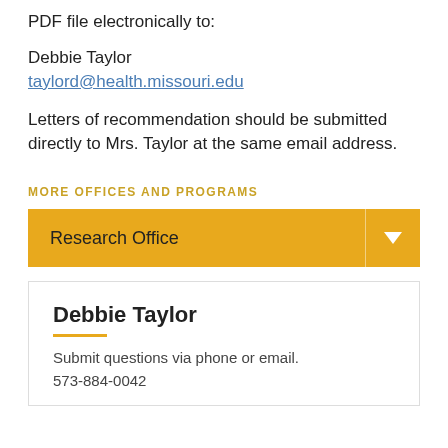PDF file electronically to:
Debbie Taylor
taylord@health.missouri.edu
Letters of recommendation should be submitted directly to Mrs. Taylor at the same email address.
MORE OFFICES AND PROGRAMS
Research Office
Debbie Taylor
Submit questions via phone or email.
573-884-0042